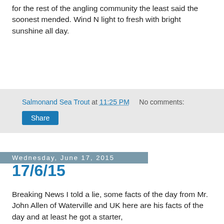for the rest of the angling community the least said the soonest mended. Wind N light to fresh with bright sunshine all day.
Salmonand Sea Trout at 11:25 PM   No comments:
Share
Wednesday, June 17, 2015
17/6/15
Breaking News I told a lie, some facts of the day from Mr. John Allen of Waterville and UK here are his facts of the day and at least he got a starter,
On Currane again today and I managed one Sea Trout 2. 5 lbs on the fly. Again let her back  safely to fight another day . Best
John Allen